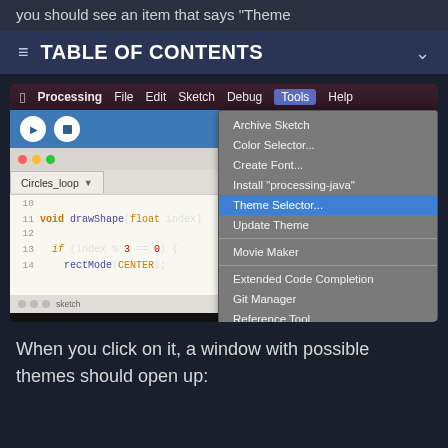you should see an item that says 'Theme
TABLE OF CONTENTS
[Figure (screenshot): Screenshot of the Processing IDE on macOS showing the Tools dropdown menu open with 'Theme Selector...' highlighted in blue. The menu shows options: Archive Sketch, Color Selector..., Create Font..., Install "processing-java", Theme Selector... (highlighted), Update Theme, Movie Maker, Extended Code Completion, Git Manager, Reference Tool, Add Tool...]
When you click on it, a window with possible themes should open up: